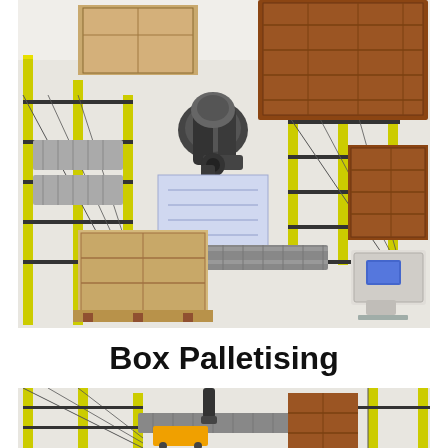[Figure (illustration): 3D rendering of a robotic box palletising system viewed from above at an angle, showing a robotic arm in the center stacking cardboard boxes onto pallets, with yellow safety fencing, conveyor systems, stacked brown boxes, and a control panel terminal on the right side.]
Box Palletising
[Figure (illustration): Partial 3D rendering of another palletising system viewed from above at an angle, showing yellow safety fencing, a robot arm, conveyor belts, and stacked brown boxes, similar to the top image but cropped.]